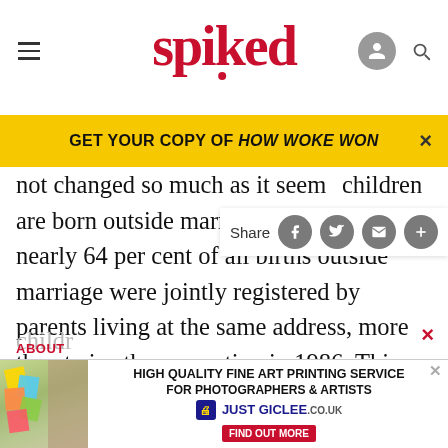spiked
GET YOUR COPY OF HOW WOKE WON
not changed so much as it seem... children are born outside marriage – but in 2002, nearly 64 per cent of all births outside marriage were jointly registered by parents living at the same address, more than twice the proportion in 1986. This suggests that these are stable monogamous relationships, if not married ones. While both the age of first childbirth and the proportion of women remaining childless are rising, the average number of
[Figure (screenshot): High Quality Fine Art Printing Service for Photographers & Artists - Just Giclee advertisement banner at bottom of page]